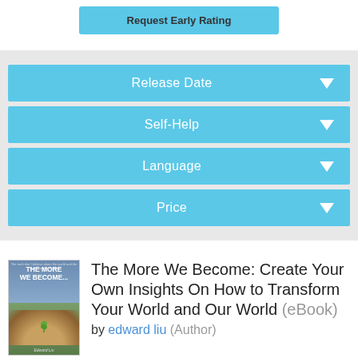[Figure (screenshot): Partial view of a truncated blue button labeled 'Request Early Rating' at the top of the page]
Release Date
Self-Help
Language
Price
[Figure (photo): Book cover of 'The More We Become...' by Edward Liu, showing hands holding a plant against a sky background]
The More We Become: Create Your Own Insights On How to Transform Your World and Our World (eBook)
by edward liu (Author)